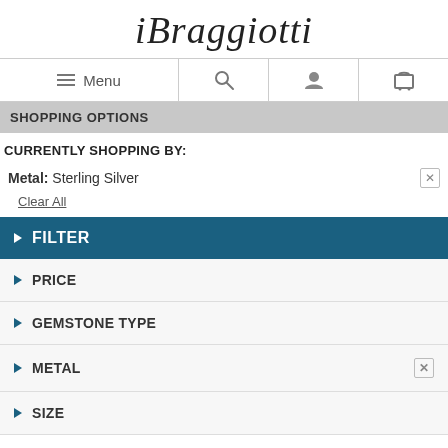[Figure (logo): iBraggiotti script logo in cursive/italic font]
[Figure (screenshot): Navigation bar with hamburger Menu icon, search icon, user icon, and shopping cart icon]
SHOPPING OPTIONS
CURRENTLY SHOPPING BY:
Metal: Sterling Silver
Clear All
FILTER
PRICE
GEMSTONE TYPE
METAL
SIZE
Pearl Rings